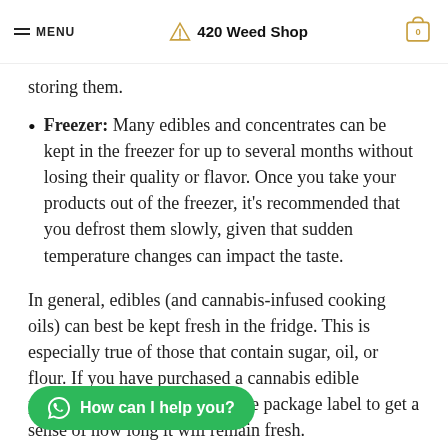MENU | 420 Weed Shop | 0
storing them.
Freezer: Many edibles and concentrates can be kept in the freezer for up to several months without losing their quality or flavor. Once you take your products out of the freezer, it’s recommended that you defrost them slowly, given that sudden temperature changes can impact the taste.
In general, edibles (and cannabis-infused cooking oils) can best be kept fresh in the fridge. This is especially true of those that contain sugar, oil, or flour. If you have purchased a cannabis edible product, you c…e on the package label to get a sense of how long it will remain fresh. Cannabutter may be stored in the freezer or fridge in a…